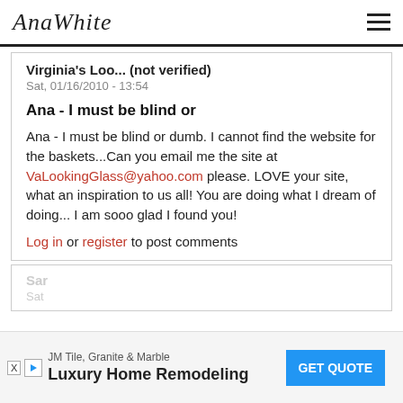AnaWhite
Virginia's Loo... (not verified)
Sat, 01/16/2010 - 13:54
Ana - I must be blind or
Ana - I must be blind or dumb. I cannot find the website for the baskets...Can you email me the site at VaLookingGlass@yahoo.com please. LOVE your site, what an inspiration to us all! You are doing what I dream of doing... I am sooo glad I found you!
Log in or register to post comments
Sar
Sat
JM Tile, Granite & Marble  Luxury Home Remodeling  GET QUOTE